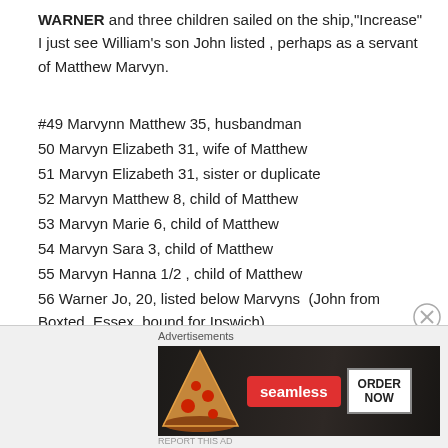WARNER and three children sailed on the ship,"Increase" I just see William's son John listed , perhaps as a servant of Matthew Marvyn.
#49 Marvynn Matthew 35, husbandman
50 Marvyn Elizabeth 31, wife of Matthew
51 Marvyn Elizabeth 31, sister or duplicate
52 Marvyn Matthew 8, child of Matthew
53 Marvyn Marie 6, child of Matthew
54 Marvyn Sara 3, child of Matthew
55 Marvyn Hanna 1/2 , child of Matthew
56 Warner Jo, 20, listed below Marvyns  (John from Boxted, Essex, bound for Ipswich).
57 More Issac 13. listed below Marvvns
[Figure (other): Advertisement banner for Seamless food ordering service showing pizza image with 'seamless' red button and 'ORDER NOW' button]